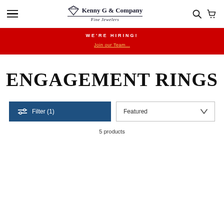Kenny G & Company Fine Jewelers — navigation header with hamburger menu, logo, search and cart icons
WE'RE HIRING! Join our Team...
ENGAGEMENT RINGS
Filter (1)  Featured  5 products